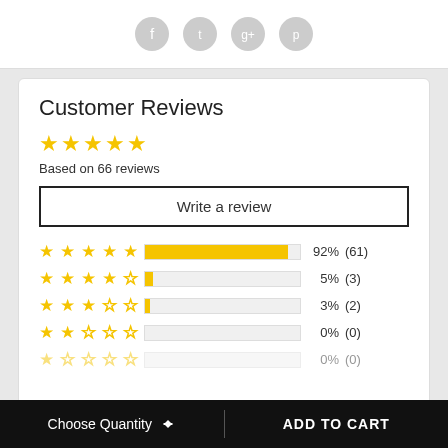[Figure (illustration): Social media share icons (Facebook, Twitter, Google+, Pinterest) in gray circle style]
Customer Reviews
[Figure (illustration): 5 yellow filled stars representing average rating]
Based on 66 reviews
Write a review
| Stars | Bar | Percent | Count |
| --- | --- | --- | --- |
| 5 stars | 92% | 92% | (61) |
| 4 stars | 5% | 5% | (3) |
| 3 stars | 3% | 3% | (2) |
| 2 stars | 0% | 0% | (0) |
| 1 star | 0% | 0% | (0) |
Choose Quantity
ADD TO CART